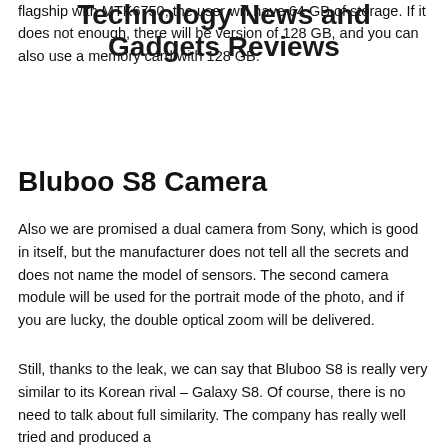Technology News and Gadgets Reviews
flagship with MTK6750, the user will have 64 GB of storage. If it does not enough, there will be version of 128 GB, and you can also use a memory card with 128 GB.
Bluboo S8 Camera
Also we are promised a dual camera from Sony, which is good in itself, but the manufacturer does not tell all the secrets and does not name the model of sensors. The second camera module will be used for the portrait mode of the photo, and if you are lucky, the double optical zoom will be delivered.
Still, thanks to the leak, we can say that Bluboo S8 is really very similar to its Korean rival – Galaxy S8. Of course, there is no need to talk about full similarity. The company has really well tried and produced a